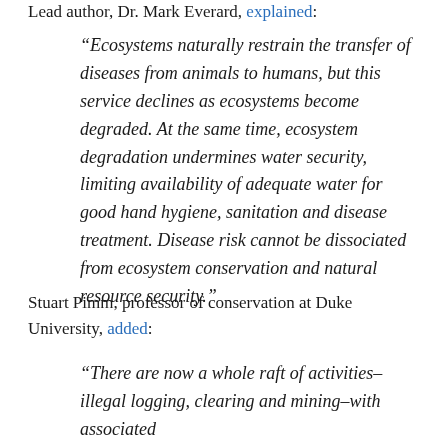Lead author, Dr. Mark Everard, explained:
“Ecosystems naturally restrain the transfer of diseases from animals to humans, but this service declines as ecosystems become degraded. At the same time, ecosystem degradation undermines water security, limiting availability of adequate water for good hand hygiene, sanitation and disease treatment. Disease risk cannot be dissociated from ecosystem conservation and natural resource security.”
Stuart Pimm, professor of conservation at Duke University, added:
“There are now a whole raft of activities–illegal logging, clearing and mining–with associated